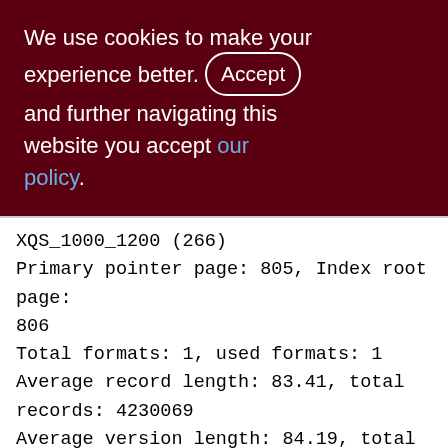We use cookies to make your experience better. By accepting and further navigating this website you accept our policy.
XQS_1000_1200 (266)
Primary pointer page: 805, Index root page: 806
Total formats: 1, used formats: 1
Average record length: 83.41, total records: 4230069
Average version length: 84.19, total versions: 1143, max versions: 1
Average fragment length: 0.00, total fragments: 0, max fragments: 0
Average unpacked length: 136.00, compression ratio: 1.63